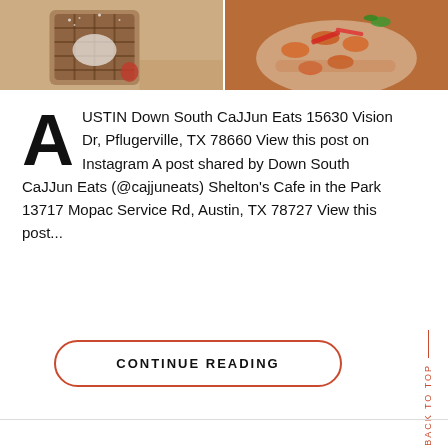[Figure (photo): Two food photos side by side: left shows a chocolate waffle with whipped cream and strawberry, right shows shrimp with peppers on a plate]
AUSTIN Down South CaJJun Eats 15630 Vision Dr, Pflugerville, TX 78660 View this post on Instagram A post shared by Down South CaJJun Eats (@cajjuneats) Shelton's Cafe in the Park 13717 Mopac Service Rd, Austin, TX 78727 View this post...
CONTINUE READING
BACK TO TOP